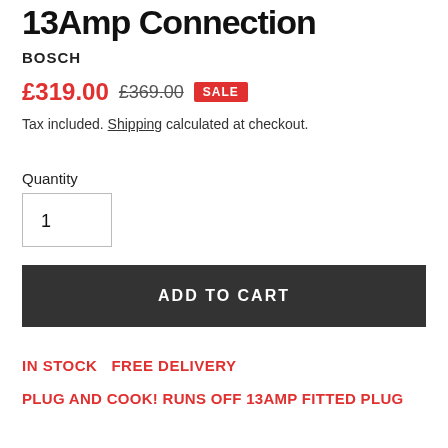13Amp Connection
BOSCH
£319.00  £369.00  SALE
Tax included. Shipping calculated at checkout.
Quantity
1
ADD TO CART
IN STOCK  FREE DELIVERY
PLUG AND COOK! RUNS OFF 13AMP FITTED PLUG